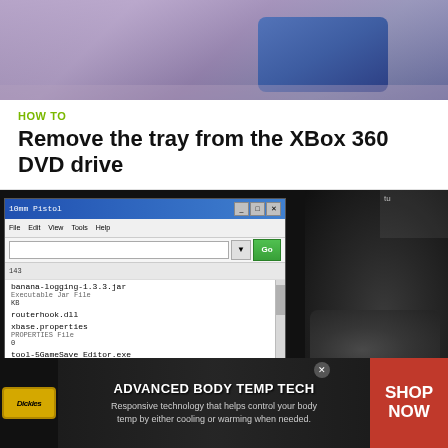[Figure (photo): Close-up photo of a device, blue/purple tones, appears to be a handheld gaming device or controller]
HOW TO
Remove the tray from the XBox 360 DVD drive
[Figure (screenshot): Split image: left side shows a Windows file browser screenshot with files listed (banana-logging-1.3.3.jar, routerhook.dll, xbase.properties, tool-5GameSave Editor.exe); right side shows a dark photo of a gun barrel/bullet hole]
HOW TO
Mod Fallout 3 for the XBox 360 without using Modio
[Figure (advertisement): Dickies brand advertisement: Advanced Body Temp Tech. Responsive technology that helps control your body temp by either cooling or warming when needed. Shop Now button on red background.]